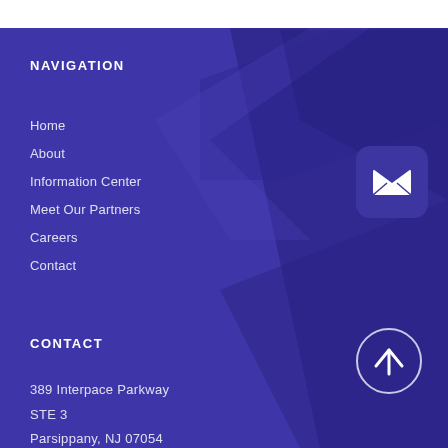NAVIGATION
Home
About
Information Center
Meet Our Partners
Careers
Contact
[Figure (illustration): Envelope/mail icon button on dark purple rounded square]
CONTACT
389 Interpace Parkway
STE 3
Parsippany, NJ 07054
[Figure (illustration): Circle with upward arrow icon for scroll-to-top]